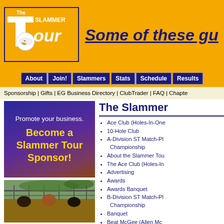[Figure (logo): The Slammer Tour logo with orange background, white block letter T and 'SLAMMER TOUR' text with a golf ball graphic]
Some of these gu
About | Join! | Slammers | Stats | Schedule | Results
Sponsorship | Gifts | EG Business Directory | ClubTrader | FAQ | Chapte
[Figure (illustration): Blue/purple gradient banner ad: 'Promote your business. Become a Slammer Tour Sponsor!']
[Figure (photo): Photo of people sitting around a table outdoors, appears to be at a golf event]
The Slammer
Ace Club (Holes-In-One
10-Hole Club
A-Division ST Match-Pl Championship
About the Slammer Tou
The Ace Club (Holes-In
Advertising
Awards
Awards Banquet
B-Division ST Match-Pl Championship
Banquet
Beat McGee (Allen Mc McGoop)
Best Dressed Slammer
BG GOLFOMAX Cup: N Slammer
Billy Dee Cup: Parent-C Match-Play Champions
Birdie Leaders: Canadi
Bookie's Week In Revie
Brockville Challenge